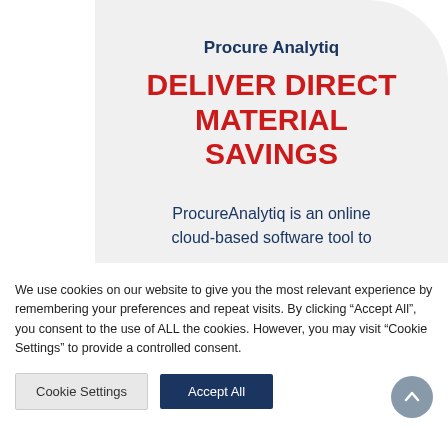Procure Analytiq
DELIVER DIRECT MATERIAL SAVINGS
ProcureAnalytiq is an online cloud-based software tool to
We use cookies on our website to give you the most relevant experience by remembering your preferences and repeat visits. By clicking “Accept All”, you consent to the use of ALL the cookies. However, you may visit “Cookie Settings” to provide a controlled consent.
Cookie Settings | Accept All